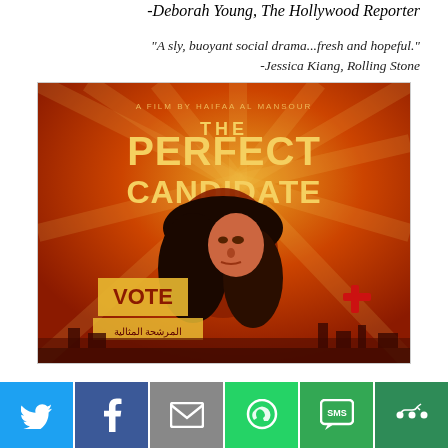-Deborah Young, The Hollywood Reporter
“A sly, buoyant social drama...fresh and hopeful.”
-Jessica Kiang, Rolling Stone
[Figure (illustration): Movie poster for 'The Perfect Candidate', a film by Haifaa Al Mansour. Red/orange graphic art style poster showing a woman in hijab looking upward, with 'VOTE' text and Arabic script visible in the background.]
[Figure (infographic): Social sharing bar with icons for Twitter, Facebook, Email, WhatsApp, SMS, and More.]